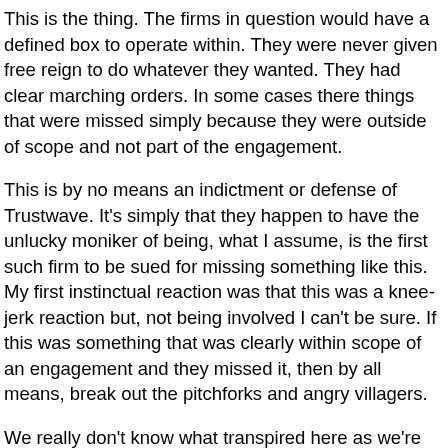This is the thing. The firms in question would have a defined box to operate within. They were never given free reign to do whatever they wanted. They had clear marching orders. In some cases there things that were missed simply because they were outside of scope and not part of the engagement.
This is by no means an indictment or defense of Trustwave. It's simply that they happen to have the unlucky moniker of being, what I assume, is the first such firm to be sued for missing something like this. My first instinctual reaction was that this was a knee-jerk reaction but, not being involved I can't be sure. If this was something that was clearly within scope of an engagement and they missed it, then by all means, break out the pitchforks and angry villagers.
We really don't know what transpired here as we're stuck at the "they said, they said" stage. If this lawsuit proceeds I believe that the particulars will come to light. This is an ugly turn in the data breach saga. We collectively need to do a